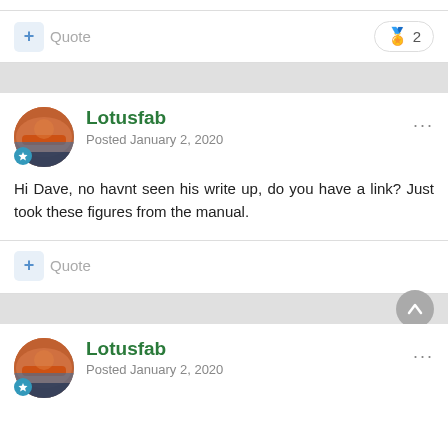+ Quote  🏅 2
Lotusfab
Posted January 2, 2020
Hi Dave, no havnt seen his write up, do you have a link? Just took these figures from the manual.
+ Quote
Lotusfab
Posted January 2, 2020